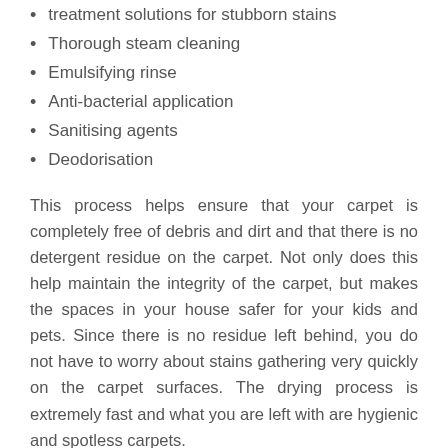treatment solutions for stubborn stains
Thorough steam cleaning
Emulsifying rinse
Anti-bacterial application
Sanitising agents
Deodorisation
This process helps ensure that your carpet is completely free of debris and dirt and that there is no detergent residue on the carpet. Not only does this help maintain the integrity of the carpet, but makes the spaces in your house safer for your kids and pets. Since there is no residue left behind, you do not have to worry about stains gathering very quickly on the carpet surfaces. The drying process is extremely fast and what you are left with are hygienic and spotless carpets.
Cost-Effective Wet Carpet Cleaning Bringelly
As a company that provides top class services to our clients, we focus on customisation